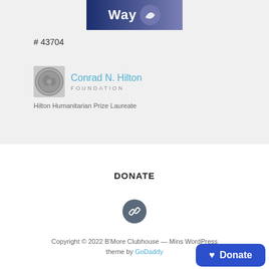[Figure (logo): United Way logo with blue background and 'Way' text with swoosh graphic]
# 43704
[Figure (logo): Conrad N. Hilton Foundation medal logo with circular coin-style emblem]
Conrad N. Hilton
FOUNDATION
Hilton Humanitarian Prize Laureate
DONATE
[Figure (other): Gray circular button with link/paperclip icon]
Copyright © 2022 B'More Clubhouse — Mins WordPress theme by GoDaddy
[Figure (other): Blue Donate button with heart icon in bottom right corner]